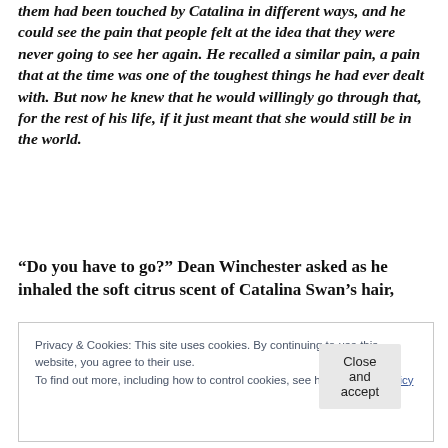them had been touched by Catalina in different ways, and he could see the pain that people felt at the idea that they were never going to see her again. He recalled a similar pain, a pain that at the time was one of the toughest things he had ever dealt with. But now he knew that he would willingly go through that, for the rest of his life, if it just meant that she would still be in the world.
“Do you have to go?” Dean Winchester asked as he inhaled the soft citrus scent of Catalina Swan’s hair,
Privacy & Cookies: This site uses cookies. By continuing to use this website, you agree to their use.
To find out more, including how to control cookies, see here: Cookie Policy